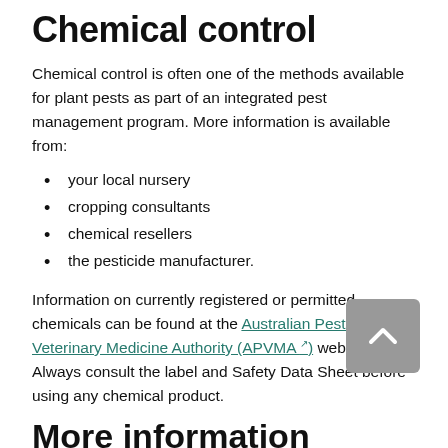Chemical control
Chemical control is often one of the methods available for plant pests as part of an integrated pest management program. More information is available from:
your local nursery
cropping consultants
chemical resellers
the pesticide manufacturer.
Information on currently registered or permitted chemicals can be found at the Australian Pesticide and Veterinary Medicine Authority (APVMA) website. Always consult the label and Safety Data Sheet before using any chemical product.
More information
NSW Department of Primary Industries